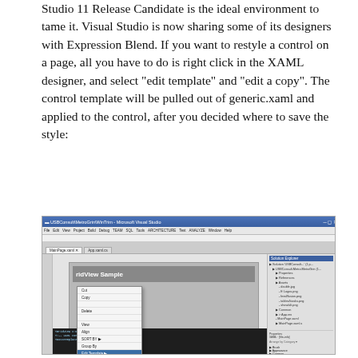Studio 11 Release Candidate is the ideal environment to tame it. Visual Studio is now sharing some of its designers with Expression Blend. If you want to restyle a control on a page, all you have to do is right click in the XAML designer, and select "edit template" and "edit a copy". The control template will be pulled out of generic.xaml and applied to the control, after you decided where to save the style:
[Figure (screenshot): Screenshot of Microsoft Visual Studio IDE showing a XAML designer with a context menu open. The context menu shows options including 'Edit Template' with a submenu, and 'Edit a Copy' highlighted with a red circle. The Solution Explorer panel is visible on the right side.]